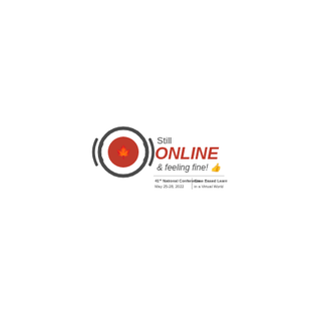[Figure (logo): Conference logo for 'Still ONLINE & feeling fine!' — 41st National Conference, May 25-28, 2022 | Case Based Learning in a Virtual World. Features a headphone/target icon with a maple leaf, with 'Still' in dark text, 'ONLINE' in bold red, '& feeling fine!' in dark italic with a thumbs-up emoji, and tagline text below.]